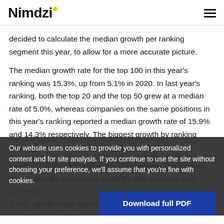Nimdzi
decided to calculate the median growth per ranking segment this year, to allow for a more accurate picture.
The median growth rate for the top 100 in this year’s ranking was 15.3%, up from 5.1% in 2020. In last year’s ranking, both the top 20 and the top 50 grew at a median rate of 5.0%, whereas companies on the same positions in this year’s ranking reported a median growth rate of 15.9% and 14.3% respectively. The biggest growth by ranking segment can be found at the very top and at the very bottom. The median growth rate for companies in the 81-100 segment was 17.9% in 2020), which is still slightly topped by the 51-80 segment with 18.2% — 12.3% higher than the previous period.
Our website uses cookies to provide you with personalized content and for site analysis. If you continue to use the site without choosing your preference, we’ll assume that you're fine with cookies.
Download full PDF